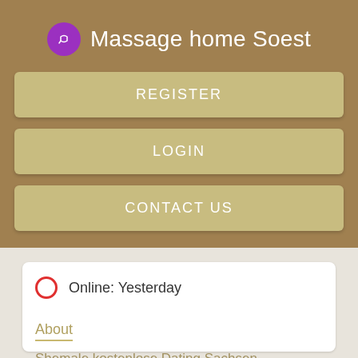Massage home Soest
REGISTER
LOGIN
CONTACT US
Online: Yesterday
About
Shemale kostenlose Dating Sachsen.